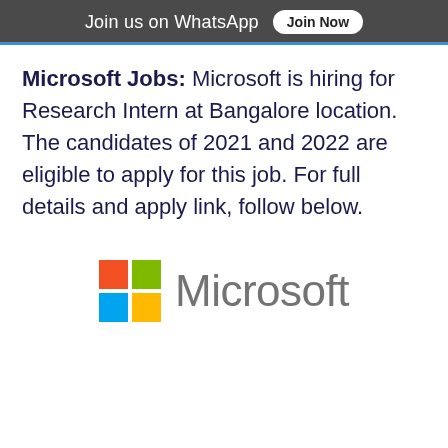Join us on WhatsApp  Join Now
Microsoft Jobs: Microsoft is hiring for Research Intern at Bangalore location. The candidates of 2021 and 2022 are eligible to apply for this job. For full details and apply link, follow below.
[Figure (logo): Microsoft logo: four colored squares (red, green, blue, yellow) grid beside the word Microsoft in gray]